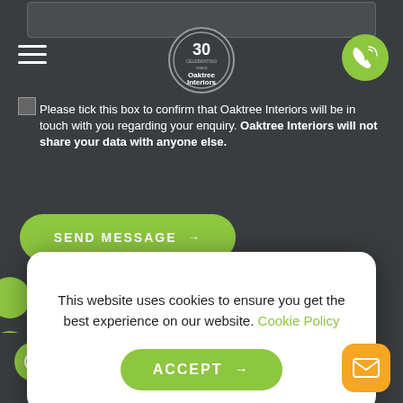[Figure (screenshot): Oaktree Interiors website screenshot showing a contact form page with cookie consent modal overlay. The page has a dark gray background with a green logo area at top, hamburger menu, phone button, consent checkbox text, send message button, and a white cookie consent popup with Accept button.]
Please tick this box to confirm that Oaktree Interiors will be in touch with you regarding your enquiry. Oaktree Interiors will not share your data with anyone else.
SEND MESSAGE →
This website uses cookies to ensure you get the best experience on our website. Cookie Policy
ACCEPT →
Message